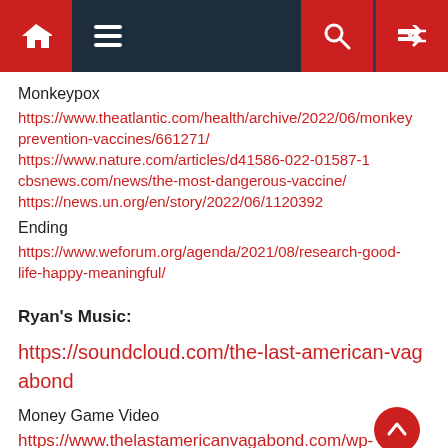Navigation bar with home, menu, search, and shuffle icons
Monkeypox
https://www.theatlantic.com/health/archive/2022/06/monkey prevention-vaccines/661271/
https://www.nature.com/articles/d41586-022-01587-1
cbsnews.com/news/the-most-dangerous-vaccine/
https://news.un.org/en/story/2022/06/1120392
Ending
https://www.weforum.org/agenda/2021/08/research-good-life-happy-meaningful/
Ryan's Music:
https://soundcloud.com/the-last-american-vagabond
Money Game Video
https://www.thelastamericanvagabond.com/wp-